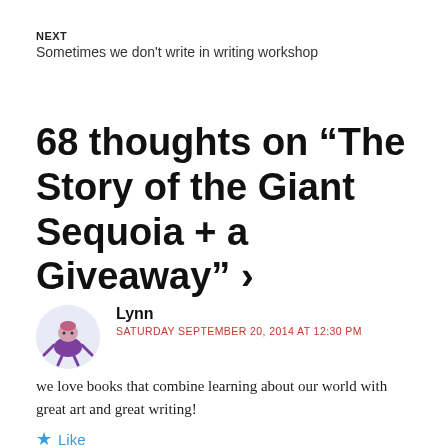NEXT
Sometimes we don't write in writing workshop
68 thoughts on “The Story of the Giant Sequoia + a Giveaway” ›
Lynn
SATURDAY SEPTEMBER 20, 2014 AT 12:30 PM
we love books that combine learning about our world with great art and great writing!
Like